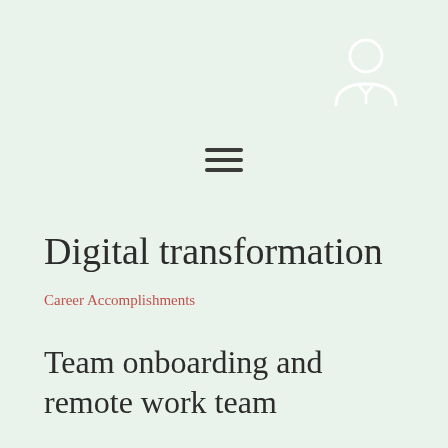[Figure (illustration): White silhouette icon of a person (head and shoulders) on a light green background, positioned in the top-right corner]
[Figure (other): Hamburger menu icon — three horizontal dark bars centered on the page]
Digital transformation
Career Accomplishments
Team onboarding and remote work team